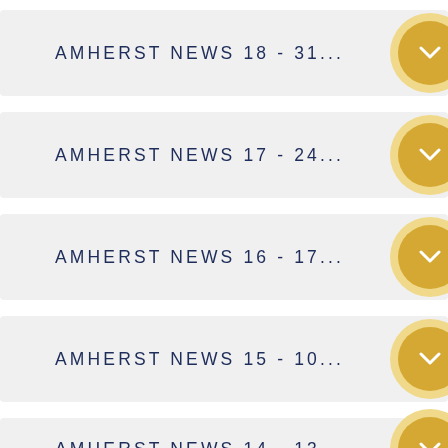AMHERST NEWS 18 - 31...
AMHERST NEWS 17 - 24...
AMHERST NEWS 16 - 17...
AMHERST NEWS 15 - 10...
AMHERST NEWS 14 - 13...